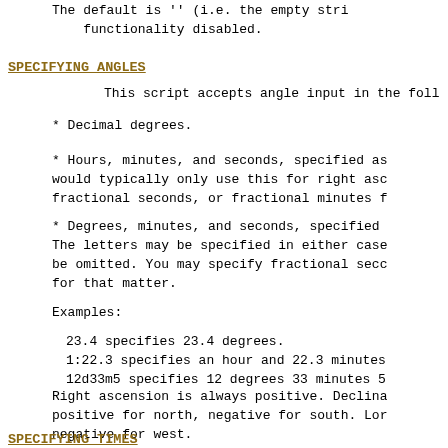The default is '' (i.e. the empty string), with this functionality disabled.
SPECIFYING ANGLES
This script accepts angle input in the following formats:
* Decimal degrees.
* Hours, minutes, and seconds, specified as... would typically only use this for right ascension... fractional seconds, or fractional minutes f...
* Degrees, minutes, and seconds, specified... The letters may be specified in either case... be omitted. You may specify fractional seco... for that matter.
Examples:
23.4 specifies 23.4 degrees.
1:22.3 specifies an hour and 22.3 minutes
12d33m5 specifies 12 degrees 33 minutes 5
Right ascension is always positive. Declination is positive for north, negative for south. Longitude is negative for west.
SPECIFYING TIMES